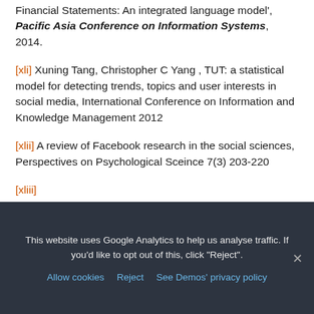Financial Statements: An integrated language model', Pacific Asia Conference on Information Systems, 2014.
[xli] Xuning Tang, Christopher C Yang , TUT: a statistical model for detecting trends, topics and user interests in social media, International Conference on Information and Knowledge Management 2012
[xlii] A review of Facebook research in the social sciences, Perspectives on Psychological Sceince 7(3) 203-220
[xliii] http://motherboard.vice.com/blog/revolution-is
This website uses Google Analytics to help us analyse traffic. If you'd like to opt out of this, click "Reject".